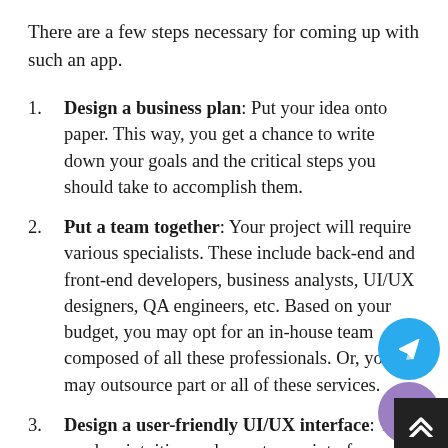There are a few steps necessary for coming up with such an app.
Design a business plan: Put your idea onto paper. This way, you get a chance to write down your goals and the critical steps you should take to accomplish them.
Put a team together: Your project will require various specialists. These include back-end and front-end developers, business analysts, UI/UX designers, QA engineers, etc. Based on your budget, you may opt for an in-house team composed of all these professionals. Or, you may outsource part or all of these services.
Design a user-friendly UI/UX interface: You need an intuitive and easy-to-use interface.
Include various features: At this stage, you